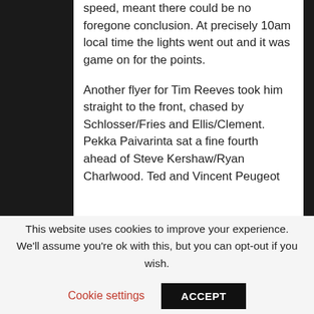speed, meant there could be no foregone conclusion. At precisely 10am local time the lights went out and it was game on for the points.
Another flyer for Tim Reeves took him straight to the front, chased by Schlosser/Fries and Ellis/Clement. Pekka Paivarinta sat a fine fourth ahead of Steve Kershaw/Ryan Charlwood. Ted and Vincent Peugeot
This website uses cookies to improve your experience. We'll assume you're ok with this, but you can opt-out if you wish.
Cookie settings
ACCEPT